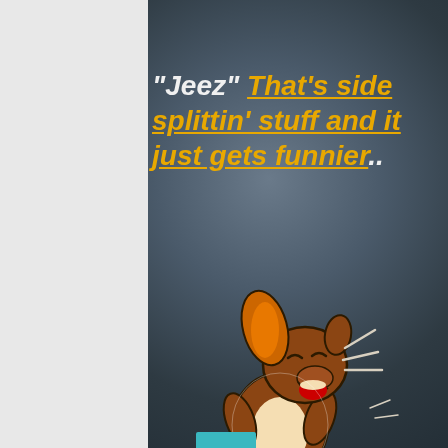"Jeez" That's side splittin' stuff and it just gets funnier..
[Figure (illustration): Cartoon of Jerry the mouse from Tom and Jerry, laughing hysterically while bent over holding his sides, with laughter lines emanating from his face]